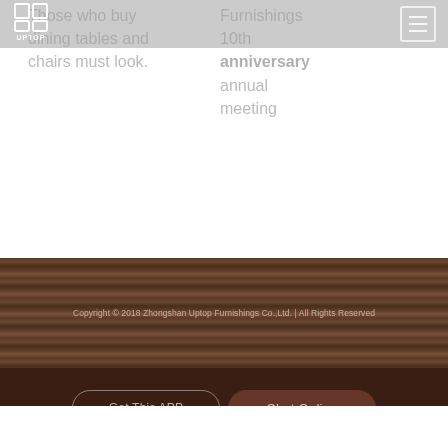[Figure (logo): Uptop Furnishings logo — white grid/table icon above UPTOP text]
Those who buy dining tables and chairs must look.
Furnishings 10th anniversary annual meeting
Copyright © 2018 Zhongshan Uptop Furnishings Co.,Ltd. | All Rights Reserved
Get This APP
Chat Online